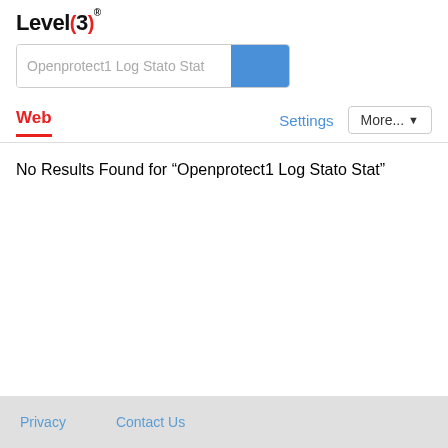[Figure (logo): Level(3) logo in bold black text with red parentheses]
Openprotect1 Log Stato Stat
Web
Settings
More... ▾
No Results Found for “Openprotect1 Log Stato Stat”
Privacy   Contact Us